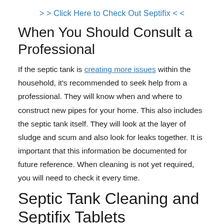>> Click Here to Check Out Septifix <<
When You Should Consult a Professional
If the septic tank is creating more issues within the household, it's recommended to seek help from a professional. They will know when and where to construct new pipes for your home. This also includes the septic tank itself. They will look at the layer of sludge and scum and also look for leaks together. It is important that this information be documented for future reference. When cleaning is not yet required, you will need to check it every time.
Septic Tank Cleaning and Septifix Tablets
The pump in the septic tank has a T-shaped outlet that prevents the sludge to leave the tank. If the lowest part of the tank contains